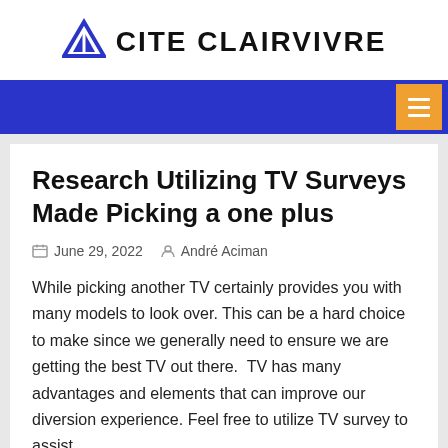CITE CLAIRVIVRE
Research Utilizing TV Surveys Made Picking a one plus
June 29, 2022   André Aciman
While picking another TV certainly provides you with many models to look over. This can be a hard choice to make since we generally need to ensure we are getting the best TV out there.  TV has many advantages and elements that can improve our diversion experience. Feel free to utilize TV survey to assist...